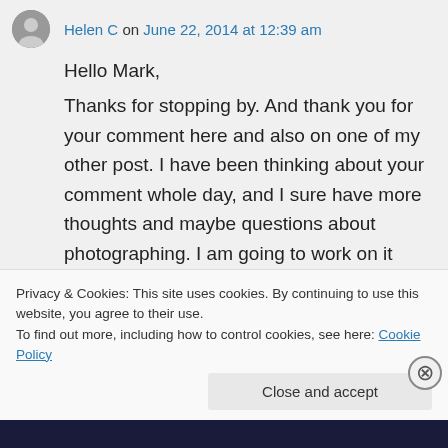Helen C on June 22, 2014 at 12:39 am
Hello Mark,

Thanks for stopping by. And thank you for your comment here and also on one of my other post. I have been thinking about your comment whole day, and I sure have more thoughts and maybe questions about photographing. I am going to work on it tonight and hopefully I will post it tomorrow. THANK YOU SO MUCH! Helen
Privacy & Cookies: This site uses cookies. By continuing to use this website, you agree to their use.
To find out more, including how to control cookies, see here: Cookie Policy
Close and accept